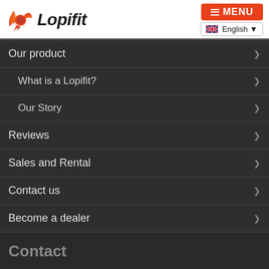Lopifit — MENU / English
Our product
What is a Lopifit?
Our Story
Reviews
Sales and Rental
Contact us
Become a dealer
Contact
Do you want more information about the Lopifit or interested to become a dealer? Please send an email to:
INFO@LOPIFIT.NL